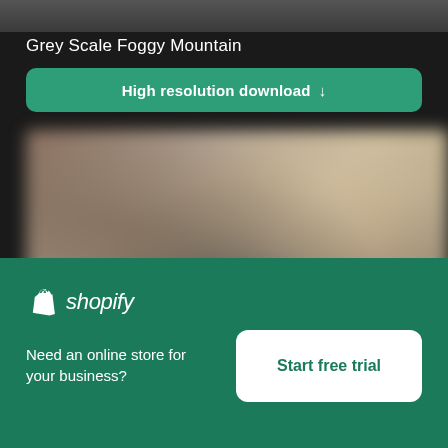[Figure (photo): Partial grey-scale foggy mountain image strip at the top]
Grey Scale Foggy Mountain
High resolution download ↓
[Figure (photo): Blurred colorful photo of various items/market scene]
×
[Figure (logo): Shopify logo with shopping bag icon and italic shopify text]
Need an online store for your business?
Start free trial